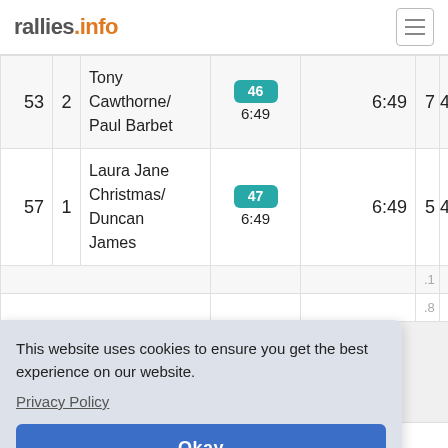rallies.info
| # | Cl | Driver/Co-driver | Stage |  | Time | Pos |  |
| --- | --- | --- | --- | --- | --- | --- | --- |
| 53 | 2 | Tony Cawthorne/ Paul Barbet | 46
6:49 |  | 6:49 | 7 | 45 |
| 57 | 1 | Laura Jane Christmas/ Duncan James | 47
6:49 |  | 6:49 | 5 | 46 |
This website uses cookies to ensure you get the best experience on our website.
Privacy Policy
Okay
Car 50 Penalty details:- 0:20 for 2:00 late at ATC.